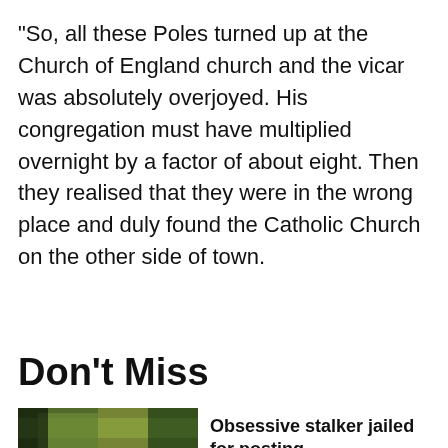"So, all these Poles turned up at the Church of England church and the vicar was absolutely overjoyed. His congregation must have multiplied overnight by a factor of about eight. Then they realised that they were in the wrong place and duly found the Catholic Church on the other side of town.
Don't Miss
[Figure (photo): Partial photo of a person wearing a high-visibility yellow jacket, partially visible at bottom of page]
Obsessive stalker jailed for posting